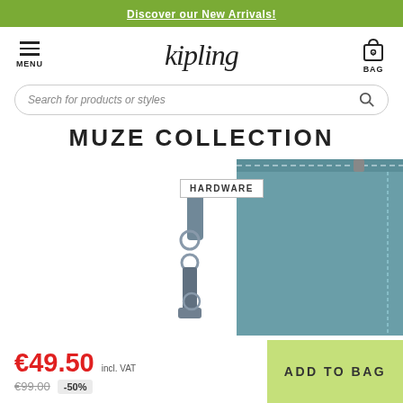Discover our New Arrivals!
[Figure (screenshot): Kipling website header with hamburger menu icon labeled MENU on the left, Kipling brand logo in the center, and a bag icon labeled BAG with 0 items on the right]
Search for products or styles
MUZE COLLECTION
[Figure (photo): Close-up of a teal/steel blue Kipling crossbody bag showing metallic hardware, strap connector rings, and stitched zipper detail. A white label reading HARDWARE is overlaid on the top-left of the image.]
€49.50 incl. VAT
€99.00 -50%
ADD TO BAG